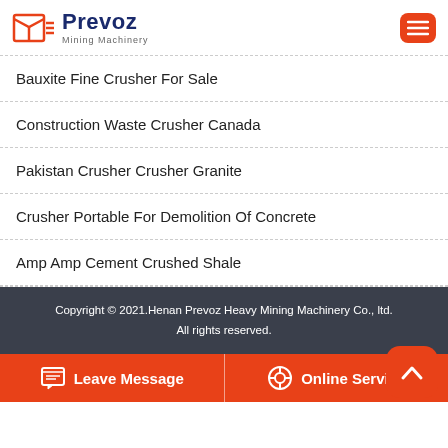Prevoz Mining Machinery
Bauxite Fine Crusher For Sale
Construction Waste Crusher Canada
Pakistan Crusher Crusher Granite
Crusher Portable For Demolition Of Concrete
Amp Amp Cement Crushed Shale
Copyright © 2021.Henan Prevoz Heavy Mining Machinery Co., ltd. All rights reserved.
Leave Message | Online Service